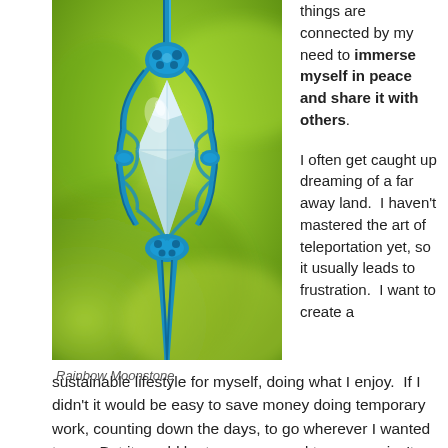[Figure (photo): A crystal pendant wrapped in blue macrame cord, hanging against a bright green blurred background. The crystal is clear/white and the knotted cord forms a diamond net pattern around it.]
Rainbow Moonstone
things are connected by my need to immerse myself in peace and share it with others.
I often get caught up dreaming of a far away land.  I haven't mastered the art of teleportation yet, so it usually leads to frustration.  I want to create a sustainable lifestyle for myself, doing what I enjoy.  If I didn't it would be easy to save money doing temporary work, counting down the days, to go wherever I wanted to go.  But it would be temporary, and temporary isn't enough for me. Temporary does not bring me peace now or in the